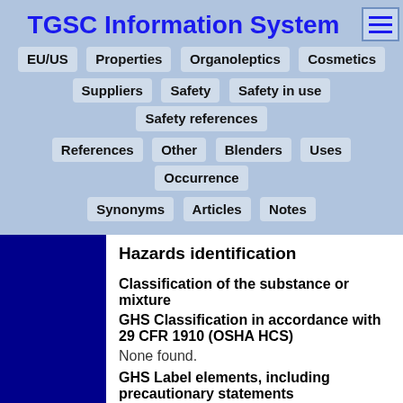TGSC Information System
EU/US  Properties  Organoleptics  Cosmetics  Suppliers  Safety  Safety in use  Safety references  References  Other  Blenders  Uses  Occurrence  Synonyms  Articles  Notes
Hazards identification
Classification of the substance or mixture
GHS Classification in accordance with 29 CFR 1910 (OSHA HCS)
None found.
GHS Label elements, including precautionary statements
Pictogram